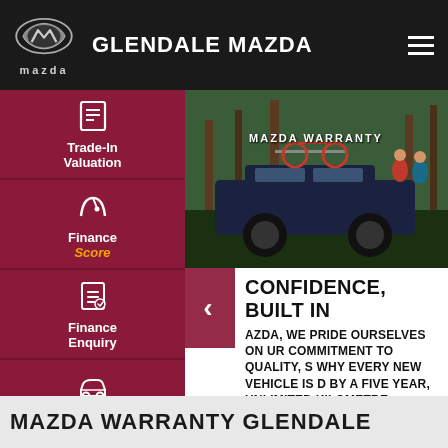GLENDALE MAZDA
Trade-In Valuation
Finance Score
Finance Enquiry
Test Drive
[Figure (photo): Mazda pickup truck in forest setting with bicycles on roof rack, two people in background. Text 'MAZDA WARRANTY' overlaid.]
CONFIDENCE, BUILT IN
AT MAZDA, WE PRIDE OURSELVES ON OUR COMMITMENT TO QUALITY, THAT'S WHY EVERY NEW VEHICLE IS BACKED BY A FIVE YEAR, UNLIMITED KILOMETRE WARRANTY.
MAZDA WARRANTY GLENDALE